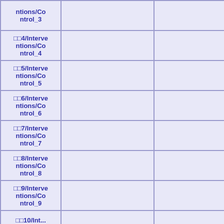| □□3/Interventions/Control_3 |  |  |
| □□4/Interventions/Control_4 |  |  |
| □□5/Interventions/Control_5 |  |  |
| □□6/Interventions/Control_6 |  |  |
| □□7/Interventions/Control_7 |  |  |
| □□8/Interventions/Control_8 |  |  |
| □□9/Interventions/Control_9 |  |  |
| □□10/Int... |  |  |